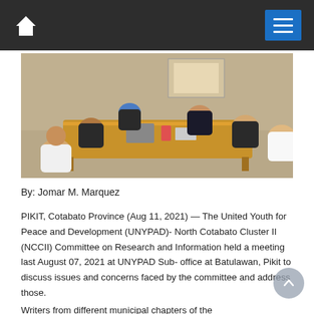Navigation bar with home icon and menu button
[Figure (photo): Group of people seated around a wooden table having a meeting indoors. Some wear dark shirts, one person wears a blue hijab. Papers and items are on the table.]
By: Jomar M. Marquez
PIKIT, Cotabato Province (Aug 11, 2021) — The United Youth for Peace and Development (UNYPAD)- North Cotabato Cluster II (NCCII) Committee on Research and Information held a meeting last August 07, 2021 at UNYPAD Sub- office at Batulawan, Pikit to discuss issues and concerns faced by the committee and address those.
Writers from different municipal chapters of the